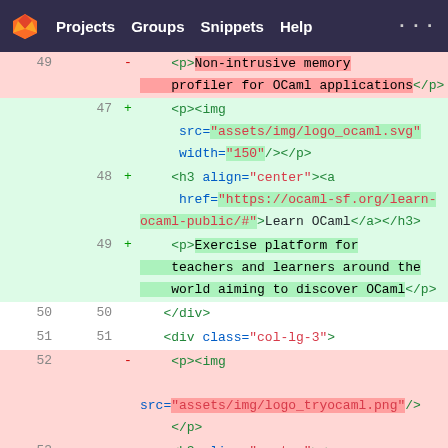GitLab navigation: Projects, Groups, Snippets, Help
[Figure (screenshot): GitLab diff view showing HTML code with line numbers. Deleted lines (red background) show line 49 with <p>Non-intrusive memory profiler for OCaml applications</p> and line 52-53 with img and h3 tags. Added lines (green background) show lines 47-49 with img src assets/img/logo_ocaml.svg, h3 with Learn OCaml link, and p with exercise platform text. Unchanged lines 50-51 show </div> and <div class='col-lg-3'>]